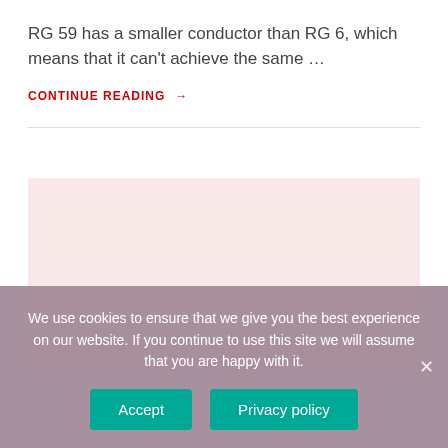RG 59 has a smaller conductor than RG 6, which means that it can't achieve the same …
CONTINUE READING →
[Figure (other): Pink/light rose colored rectangular box, likely an advertisement placeholder]
We use cookies to ensure that we give you the best experience on our website. If you continue to use this site we will assume that you are happy with it.
Accept | Privacy policy